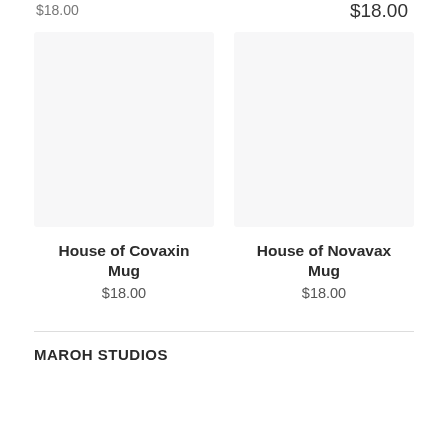$18.00
$18.00
[Figure (photo): Product image placeholder for House of Covaxin Mug - light gray/white background rectangle]
House of Covaxin Mug
$18.00
[Figure (photo): Product image placeholder for House of Novavax Mug - light gray/white background rectangle]
House of Novavax Mug
$18.00
MAROH STUDIOS